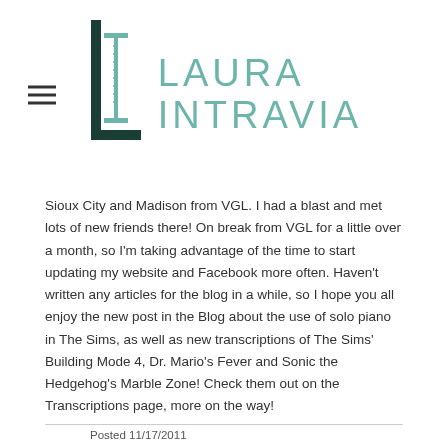LAURA INTRAVIA
Sioux City and Madison from VGL. I had a blast and met lots of new friends there! On break from VGL for a little over a month, so I'm taking advantage of the time to start updating my website and Facebook more often. Haven't written any articles for the blog in a while, so I hope you all enjoy the new post in the Blog about the use of solo piano in The Sims, as well as new transcriptions of The Sims' Building Mode 4, Dr. Mario's Fever and Sonic the Hedgehog's Marble Zone! Check them out on the Transcriptions page, more on the way!
Posted 11/17/2011
Upcoming Shows
Video Games Live
San Bernardino, Sioux City and Madison
October 29th, November 5th 2011